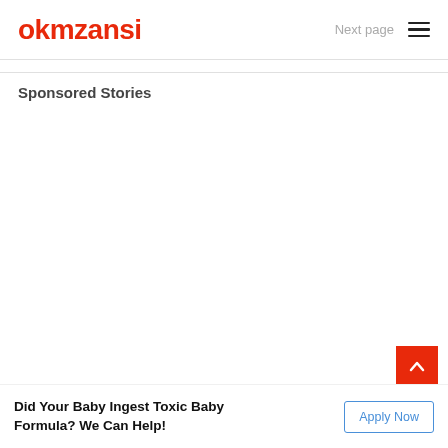okmzansi | Next page ≡
Sponsored Stories
Did Your Baby Ingest Toxic Baby Formula? We Can Help!
Apply Now